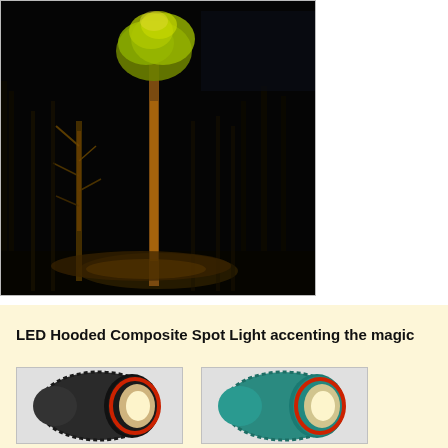[Figure (photo): Night photograph of tall trees illuminated by a warm golden spotlight from below. The main tall tree with foliage at the top is brightly lit in golden/yellow tones against a very dark black sky and background. Smaller bare trees visible to the left. Dark forest floor at the bottom.]
LED Hooded Composite Spot Light accenting the magic
[Figure (photo): Photo of a black and dark-striped LED hooded composite spot light fixture with a circular opening showing a red ring accent and LED element inside.]
[Figure (photo): Photo of a teal/green LED hooded composite spot light fixture with a circular opening showing a red ring accent and LED element inside.]